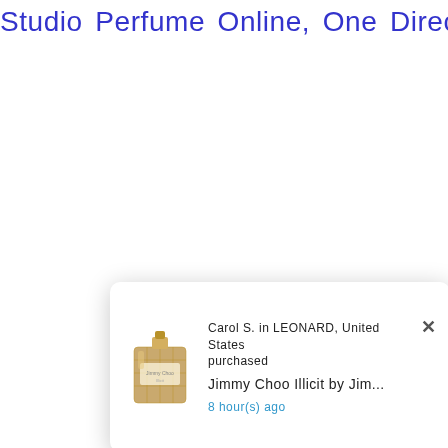Studio Perfume Online, One Direction Perfume Online, Onyrico Perfume Online, Original Penguin Perfume Online, Ormonde Jayne Perfume Online, Orto Parisi Perfume Online, Oscar De La Renta Perfume Online, Otto Kern Perfume Online, PASCAL MORABITO Perfume Online, Paco Rabanne Perfume Online, Pal Zileri Perfume Online, Paloma Picasso Perfume Online, Pamela Anderson Perfume Online, Parfum Blaze Perfume Online, Parfum De Coeur Perfume Online, Parfums Online, Parfums De Coeur Early Perfume Online, Partums Du Chateau De Versailles Perfume Online, Parfum Escada...
[Figure (screenshot): A popup notification showing Carol S. in LEONARD, United States purchased Jimmy Choo Illicit by Jim... 8 hour(s) ago, with a product image of the perfume bottle and an X close button.]